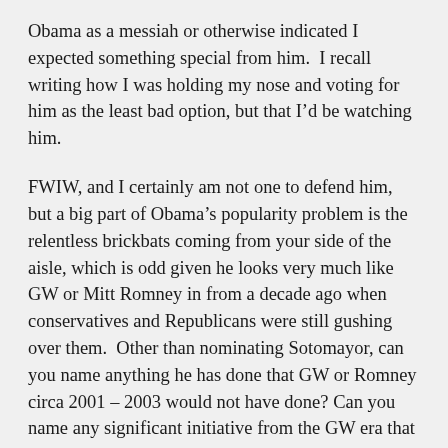Obama as a messiah or otherwise indicated I expected something special from him.  I recall writing how I was holding my nose and voting for him as the least bad option, but that I’d be watching him.
FWIW, and I certainly am not one to defend him, but a big part of Obama’s popularity problem is the relentless brickbats coming from your side of the aisle, which is odd given he looks very much like GW or Mitt Romney in from a decade ago when conservatives and Republicans were still gushing over them.  Other than nominating Sotomayor, can you name anything he has done that GW or Romney circa 2001 – 2003 would not have done? Can you name any significant initiative from the GW era that he has actually broken with?